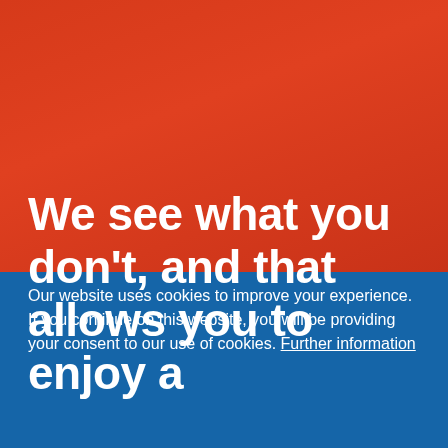We see what you don't, and that allows you to enjoy a
Our website uses cookies to improve your experience. If you continue on this website, you will be providing your consent to our use of cookies. Further information
I agree